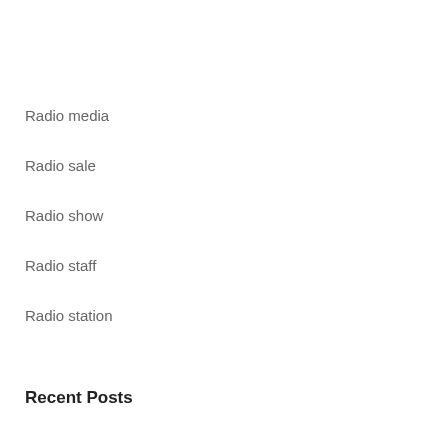Radio media
Radio sale
Radio show
Radio staff
Radio station
Recent Posts
Bon Iver's Justin Vernon to Host New Radio Show for Radio Milwaukee
Meet the Guy Behind Huntsville's Coolest Radio Show
A local Serbian radio station threatened by a powerful